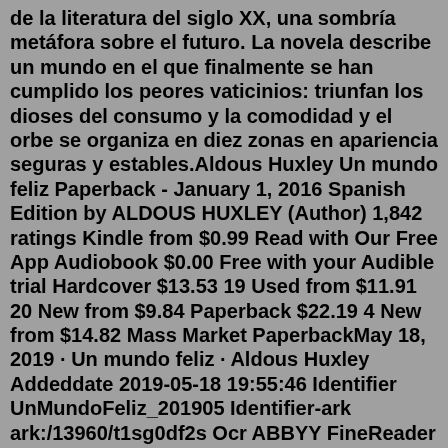de la literatura del siglo XX, una sombría metáfora sobre el futuro. La novela describe un mundo en el que finalmente se han cumplido los peores vaticinios: triunfan los dioses del consumo y la comodidad y el orbe se organiza en diez zonas en apariencia seguras y estables.Aldous Huxley Un mundo feliz Paperback - January 1, 2016 Spanish Edition by ALDOUS HUXLEY (Author) 1,842 ratings Kindle from $0.99 Read with Our Free App Audiobook $0.00 Free with your Audible trial Hardcover $13.53 19 Used from $11.91 20 New from $9.84 Paperback $22.19 4 New from $14.82 Mass Market PaperbackMay 18, 2019 · Un mundo feliz · Aldous Huxley Addeddate 2019-05-18 19:55:46 Identifier UnMundoFeliz_201905 Identifier-ark ark:/13960/t1sg0df2s Ocr ABBYY FineReader 11.0 (Extended ... Aldous Huxley (1894-1963) imaginó un mundo estable, en el que la gente fuera feliz. Un mundo en el que las personas tendrían lo que desearán y nunca desearían lo que no pudieran obtener.Es imprescindible adentrarse en el mundo feliz de Huxley, en la irónica utopía del pasado,